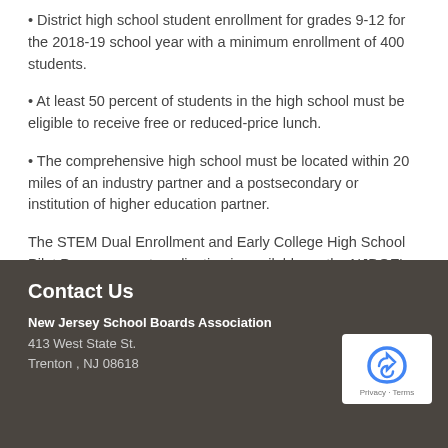• District high school student enrollment for grades 9-12 for the 2018-19 school year with a minimum enrollment of 400 students.
• At least 50 percent of students in the high school must be eligible to receive free or reduced-price lunch.
• The comprehensive high school must be located within 20 miles of an industry partner and a postsecondary or institution of higher education partner.
The STEM Dual Enrollment and Early College High School Pilot Program grant application is available on the NJDOE's Office of Career Readiness webpage. Completed applications are due by 4 p.m. on Oct. 23, 2018.
Contact Us
New Jersey School Boards Association
413 West State St.
Trenton , NJ 08618